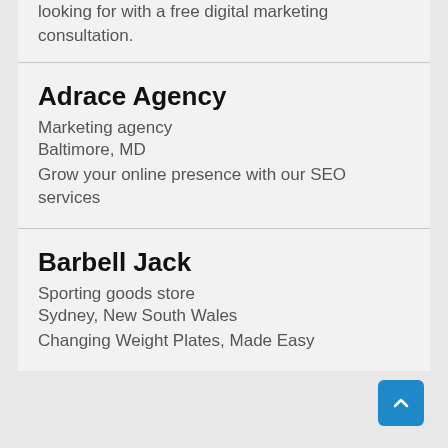looking for with a free digital marketing consultation.
Adrace Agency
Marketing agency
Baltimore, MD
Grow your online presence with our SEO services
Barbell Jack
Sporting goods store
Sydney, New South Wales
Changing Weight Plates, Made Easy